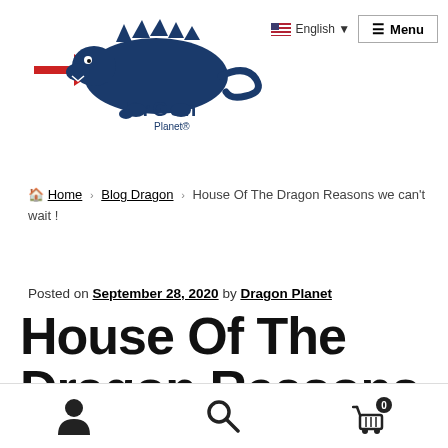English ▼   ☰ Menu
[Figure (logo): Dragon Planet logo - blue dragon cartoon with red arrow, text 'DrGon Planet®' in dark blue]
🏠 Home › Blog Dragon › House Of The Dragon Reasons we can't wait !
Posted on September 28, 2020 by Dragon Planet
House Of The Dragon Reasons we can't wait
👤  🔍  🛒 0